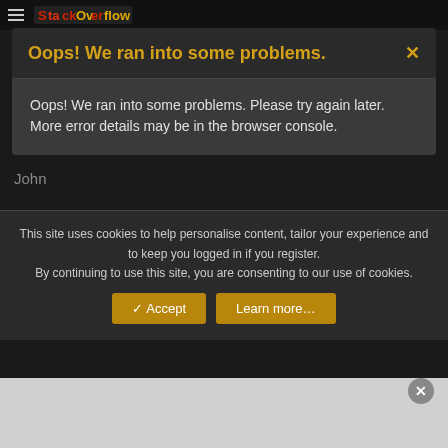[Figure (screenshot): Website top navigation bar with hamburger menu icon and logo]
Oops! We ran into some problems.
Oops! We ran into some problems. Please try again later. More error details may be in the browser console.
John
This site uses cookies to help personalise content, tailor your experience and to keep you logged in if you register.
By continuing to use this site, you are consenting to our use of cookies.
✓ Accept
Learn more...